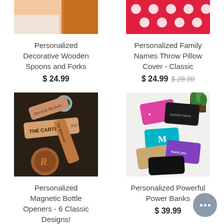[Figure (photo): Partial product image top left - wooden spoons/forks]
[Figure (photo): Partial product image top right - red polka dot throw pillow cover]
Personalized Decorative Wooden Spoons and Forks
$ 24.99
Personalized Family Names Throw Pillow Cover - Classic
$ 24.99 $ 28.99
[Figure (photo): Wooden magnetic bottle openers with engraved names - 6 classic designs]
[Figure (photo): Colorful personalized power banks in pink, black, teal, purple, tan colors]
Personalized Magnetic Bottle Openers - 6 Classic Designs!
Personalized Powerful Power Banks
$ 39.99